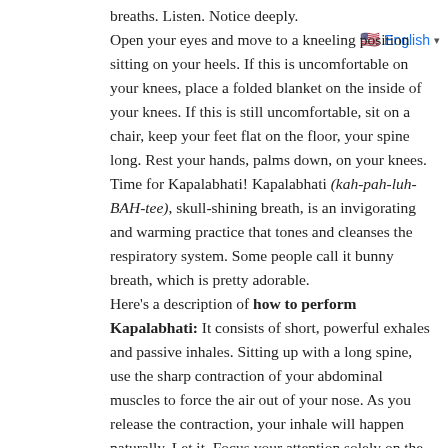English
breaths. Listen. Notice deeply.
Open your eyes and move to a kneeling position sitting on your heels. If this is uncomfortable on your knees, place a folded blanket on the inside of your knees. If this is still uncomfortable, sit on a chair, keep your feet flat on the floor, your spine long. Rest your hands, palms down, on your knees.
Time for Kapalabhati! Kapalabhati (kah-pah-luh-BAH-tee), skull-shining breath, is an invigorating and warming practice that tones and cleanses the respiratory system. Some people call it bunny breath, which is pretty adorable.
Here's a description of how to perform Kapalabhati: It consists of short, powerful exhales and passive inhales. Sitting up with a long spine, use the sharp contraction of your abdominal muscles to force the air out of your nose. As you release the contraction, your inhale will happen naturally. Let it. Focus your attention solely on the exhales. Though the force of Kapalabhati can be powerful enough to shake your whole body, let its work stay within the